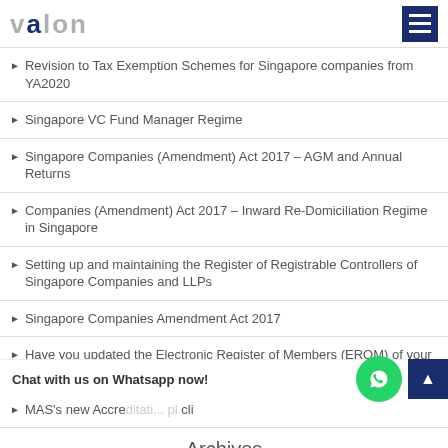VALON
Revision to Tax Exemption Schemes for Singapore companies from YA2020
Singapore VC Fund Manager Regime
Singapore Companies (Amendment) Act 2017 – AGM and Annual Returns
Companies (Amendment) Act 2017 – Inward Re-Domiciliation Regime in Singapore
Setting up and maintaining the Register of Registrable Controllers of Singapore Companies and LLPs
Singapore Companies Amendment Act 2017
Have you updated the Electronic Register of Members (EROM) of your Singapore Company?
MAS's new Accre... cli
Archives